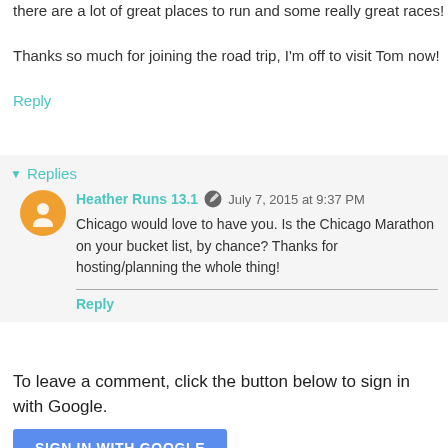there are a lot of great places to run and some really great races!
Thanks so much for joining the road trip, I'm off to visit Tom now!
Reply
Replies
Heather Runs 13.1   July 7, 2015 at 9:37 PM
Chicago would love to have you. Is the Chicago Marathon on your bucket list, by chance? Thanks for hosting/planning the whole thing!
Reply
To leave a comment, click the button below to sign in with Google.
SIGN IN WITH GOOGLE